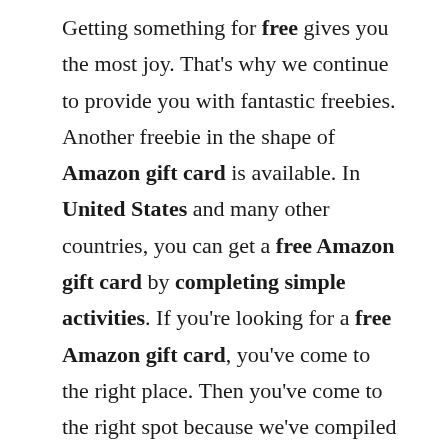Getting something for free gives you the most joy. That's why we continue to provide you with fantastic freebies. Another freebie in the shape of Amazon gift card is available. In United States and many other countries, you can get a free Amazon gift card by completing simple activities. If you're looking for a free Amazon gift card, you've come to the right place. Then you've come to the right spot because we've compiled a list of the best apps and websites for earning gift cards. Add the gift card to your Amazon account for free shopping, mobile recharge, utility payments, and more once...